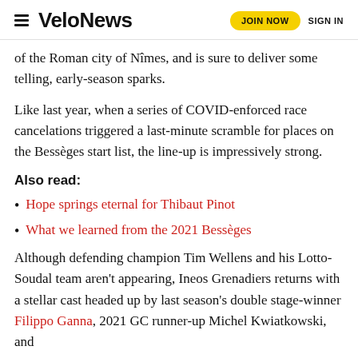VeloNews | JOIN NOW | SIGN IN
of the Roman city of Nîmes, and is sure to deliver some telling, early-season sparks.
Like last year, when a series of COVID-enforced race cancelations triggered a last-minute scramble for places on the Bessèges start list, the line-up is impressively strong.
Also read:
Hope springs eternal for Thibaut Pinot
What we learned from the 2021 Bessèges
Although defending champion Tim Wellens and his Lotto-Soudal team aren't appearing, Ineos Grenadiers returns with a stellar cast headed up by last season's double stage-winner Filippo Ganna, 2021 GC runner-up Michel Kwiatkowski, and